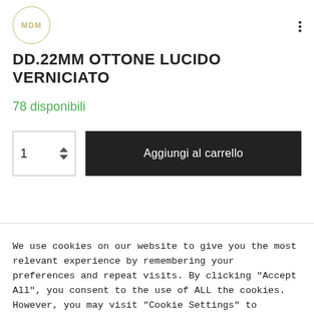[Figure (logo): MDM circular logo with gold/tan border]
DD.22MM OTTONE LUCIDO VERNICIATO
78 disponibili
1  Aggiungi al carrello
We use cookies on our website to give you the most relevant experience by remembering your preferences and repeat visits. By clicking "Accept All", you consent to the use of ALL the cookies. However, you may visit "Cookie Settings" to provide a controlled consent.
Cookie Settings   Accept All